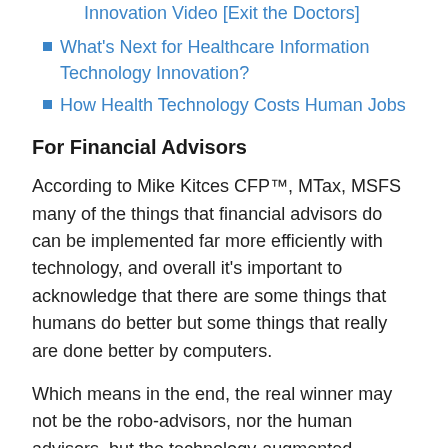Innovation Video [Exit the Doctors]
What's Next for Healthcare Information Technology Innovation?
How Health Technology Costs Human Jobs
For Financial Advisors
According to Mike Kitces CFP™, MTax, MSFS many of the things that financial advisors do can be implemented far more efficiently with technology, and overall it's important to acknowledge that there are some things that humans do better but some things that really are done better by computers.
Which means in the end, the real winner may not be the robo-advisors, nor the human advisors, but the technology-augmented humans – the cyborg advisors –